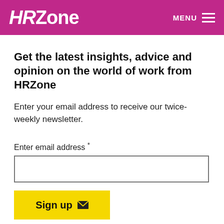HRZone MENU
Get the latest insights, advice and opinion on the world of work from HRZone
Enter your email address to receive our twice-weekly newsletter.
Enter email address *
Sign up